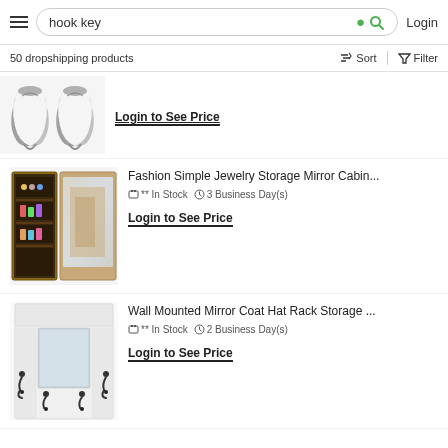hook key | Login
50 dropshipping products
[Figure (photo): Partial view of metal double hooks, silver/chrome finish, cropped at top]
Login to See Price
[Figure (photo): Fashion Simple Jewelry Storage Mirror Cabinet - two panel view showing open storage with jewelry/cosmetics and closed mirror door]
Fashion Simple Jewelry Storage Mirror Cabin...
** In Stock   3 Business Day(s)
Login to See Price
[Figure (photo): Wall Mounted Mirror Coat Hat Rack Storage - white unit with mirror panel and coat hooks]
Wall Mounted Mirror Coat Hat Rack Storage ...
** In Stock   2 Business Day(s)
Login to See Price